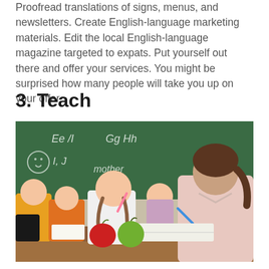Proofread translations of signs, menus, and newsletters. Create English-language marketing materials. Edit the local English-language magazine targeted to expats. Put yourself out there and offer your services. You might be surprised how many people will take you up on your offer.
3. Teach
[Figure (photo): A female teacher with dark hair in a ponytail, wearing a light pink blouse, leaning over a desk helping a young girl with braids. Several children are seated at desks in a classroom. A green chalkboard with letters and the word 'mother' is visible in the background. Two apples (red and green) sit on the desk in the foreground.]